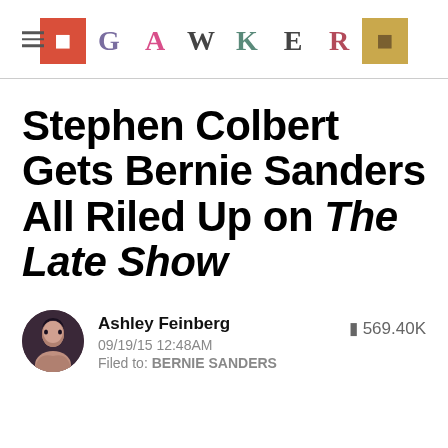GAWKER
Stephen Colbert Gets Bernie Sanders All Riled Up on The Late Show
Ashley Feinberg
09/19/15 12:48AM
Filed to: BERNIE SANDERS
569.40K